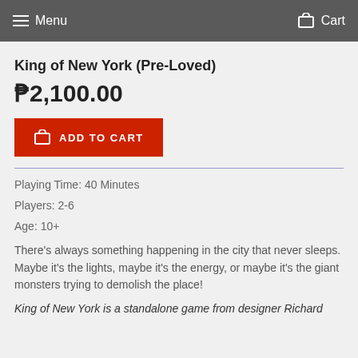Menu  Cart
King of New York (Pre-Loved)
₱2,100.00
ADD TO CART
Playing Time: 40 Minutes
Players: 2-6
Age: 10+
There's always something happening in the city that never sleeps. Maybe it's the lights, maybe it's the energy, or maybe it's the giant monsters trying to demolish the place!
King of New York is a standalone game from designer Richard